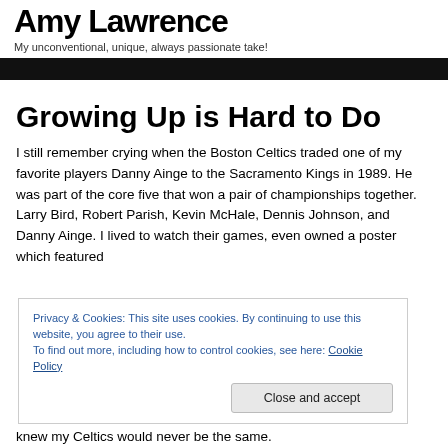Amy Lawrence
My unconventional, unique, always passionate take!
Growing Up is Hard to Do
I still remember crying when the Boston Celtics traded one of my favorite players Danny Ainge to the Sacramento Kings in 1989. He was part of the core five that won a pair of championships together. Larry Bird, Robert Parish, Kevin McHale, Dennis Johnson, and Danny Ainge. I lived to watch their games, even owned a poster which featured
Privacy & Cookies: This site uses cookies. By continuing to use this website, you agree to their use.
To find out more, including how to control cookies, see here: Cookie Policy
Close and accept
knew my Celtics would never be the same.